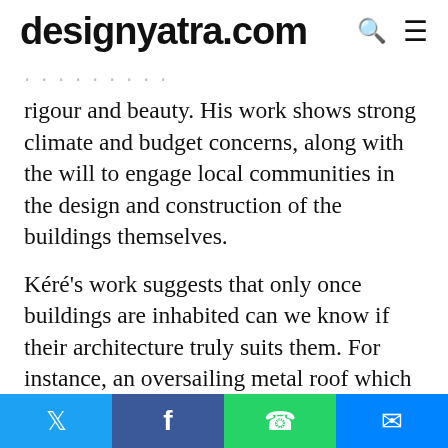designyatra.com
rigour and beauty. His work shows strong climate and budget concerns, along with the will to engage local communities in the design and construction of the buildings themselves.
Kéré's work suggests that only once buildings are inhabited can we know if their architecture truly suits them. For instance, an oversailing metal roof which provides shade from the brutal sun and protects the walls from the rain might become an unintended playground for children, who like to climb roofs as if
Twitter | Facebook | WhatsApp | Messenger